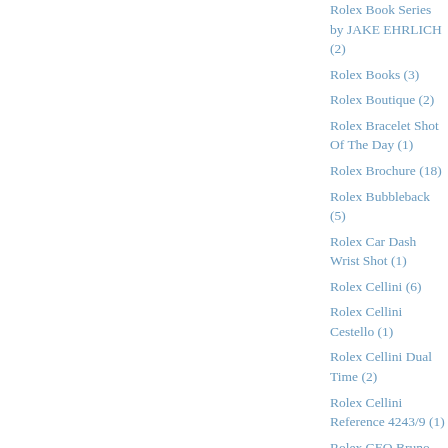Rolex Book Series by JAKE EHRLICH (2)
Rolex Books (3)
Rolex Boutique (2)
Rolex Bracelet Shot Of The Day (1)
Rolex Brochure (18)
Rolex Bubbleback (5)
Rolex Car Dash Wrist Shot (1)
Rolex Cellini (6)
Rolex Cellini Cestello (1)
Rolex Cellini Dual Time (2)
Rolex Cellini Reference 4243/9 (1)
Rolex CEO Bruno